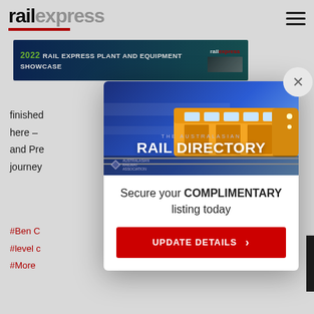railexpress
[Figure (screenshot): 2022 Rail Express Plant and Equipment Showcase banner advertisement with blue-green gradient background and rail express logo]
finished
here –
and Pre
journey
#Ben C
#level c
#More
[Figure (screenshot): Modal popup showing The Australasian Rail Directory advertisement with a yellow and blue train image, text 'Secure your COMPLIMENTARY listing today' and an UPDATE DETAILS button in red]